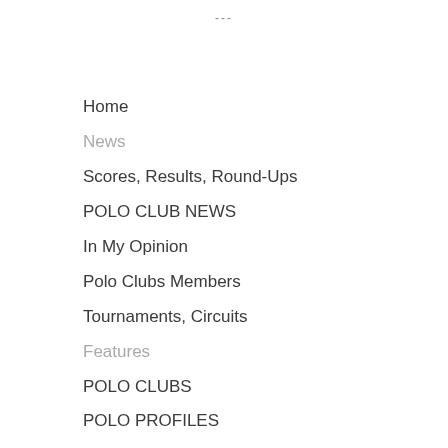---
Home
News
Scores, Results, Round-Ups
POLO CLUB NEWS
In My Opinion
Polo Clubs Members
Tournaments, Circuits
Features
POLO CLUBS
POLO PROFILES
Educational, Instructional, Informative
World's Best Informative Polo Websites
Historical Features